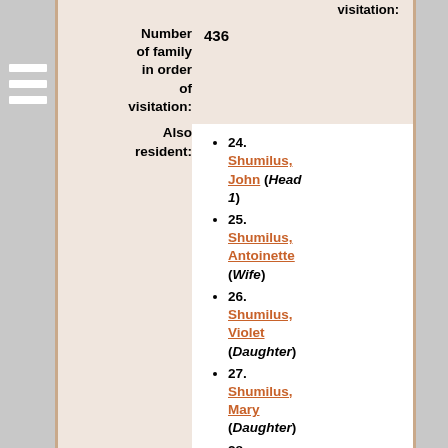visitation:
Number of family in order of visitation: 436
Also resident:
24. Shumilus, John (Head 1)
25. Shumilus, Antoinette (Wife)
26. Shumilus, Violet (Daughter)
27. Shumilus, Mary (Daughter)
28. Shumilus, Frank (Son)